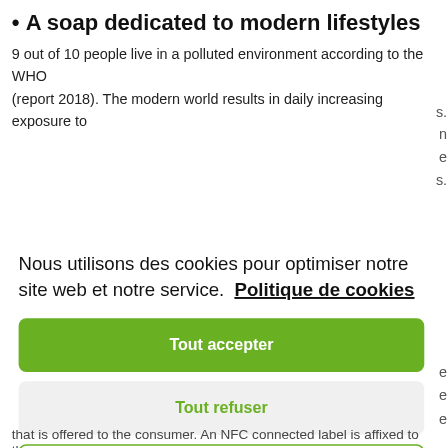• A soap dedicated to modern lifestyles
9 out of 10 people live in a polluted environment according to the WHO (report 2018). The modern world results in daily increasing exposure to
Nous utilisons des cookies pour optimiser notre site web et notre service.  Politique de cookies
Tout accepter
Tout refuser
Préférences
that is offered to the consumer. An NFC connected label is affixed to the